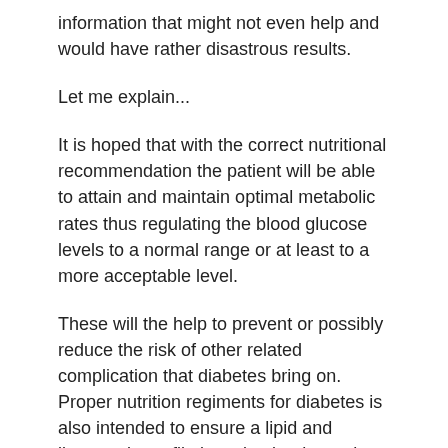information that might not even help and would have rather disastrous results.
Let me explain...
It is hoped that with the correct nutritional recommendation the patient will be able to attain and maintain optimal metabolic rates thus regulating the blood glucose levels to a normal range or at least to a more acceptable level.
These will the help to prevent or possibly reduce the risk of other related complication that diabetes bring on. Proper nutrition regiments for diabetes is also intended to ensure a lipid and lipoprotein profile is maintained to reduce the risk of macro vascular disease.
And the worst part? The more you don't know the less you will succeed!